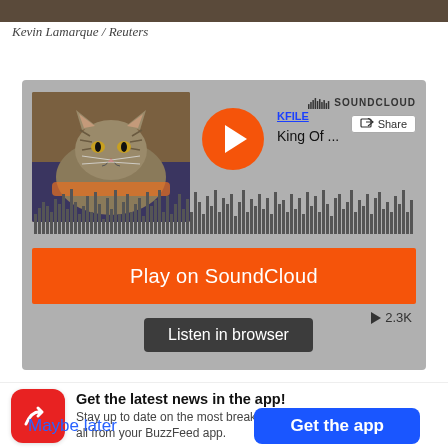[Figure (photo): Partial photo strip at top of page, dark tones suggesting a person's face/background]
Kevin Lamarque / Reuters
[Figure (screenshot): SoundCloud embedded audio player widget showing a cat thumbnail, KFILE 'King Of ...' track, orange play button, waveform visualization, orange 'Play on SoundCloud' overlay bar, and 'Listen in browser' button with 2.3K plays count]
[Figure (infographic): BuzzFeed app promotion banner with red icon (white arrow), headline 'Get the latest news in the app!', subtext 'Stay up to date on the most breaking news, all from your BuzzFeed app.', 'Maybe later' link and 'Get the app' blue button]